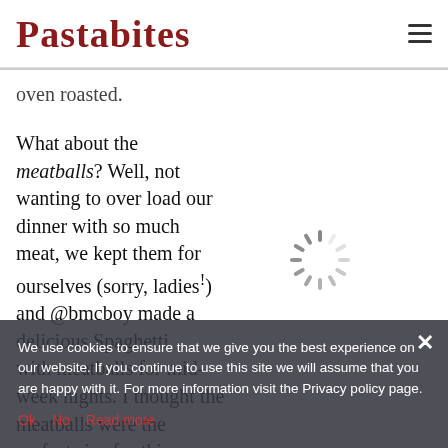Pastabites
oven roasted.
What about the meatballs? Well, not wanting to over load our dinner with so much meat, we kept them for ourselves (sorry, ladies!) and @bmcboy made a delicious Spaghetti with meatballs for mid-week nights. I thought the meatballs were the perfect size for this simple but delicious mid-week dinner. They were balanced in flavour (I find pre-made meatballs sometimes
[Figure (other): Loading spinner / activity indicator — a circular dashed radial spinner graphic]
We use cookies to ensure that we give you the best experience on our website. If you continue to use this site we will assume that you are happy with it. For more information visit the Privacy policy page.